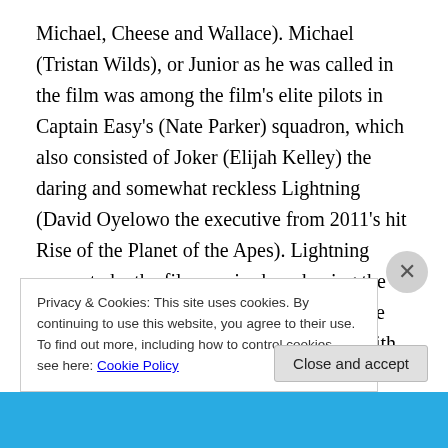Michael, Cheese and Wallace). Michael (Tristan Wilds), or Junior as he was called in the film was among the film's elite pilots in Captain Easy's (Nate Parker) squadron, which also consisted of Joker (Elijah Kelley) the daring and somewhat reckless Lightning (David Oyelowo the executive from 2011's hit Rise of the Planet of the Apes). Lightning seems to be the films major hero having the highest rate of kills and the inter-racial love interest. The more known cast members with multiple awards to their names, such as Cuba Gooding Jr. and Breaking Bad's Brian Cranston didn't have much screen time but were
Privacy & Cookies: This site uses cookies. By continuing to use this website, you agree to their use.
To find out more, including how to control cookies, see here: Cookie Policy
Close and accept